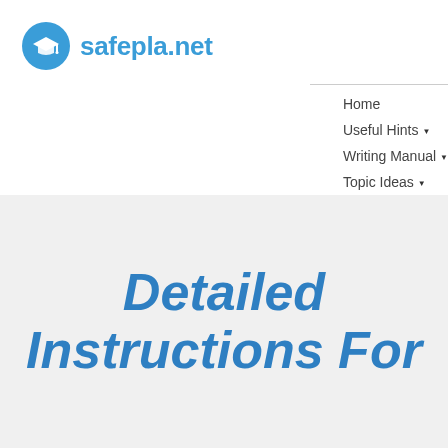[Figure (logo): safepla.net logo with blue graduation cap icon and blue text]
Home
Useful Hints ▾
Writing Manual ▾
Topic Ideas ▾
Contact Us
Detailed Instructions For